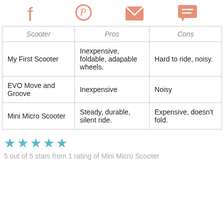Social share icons: Facebook, Pinterest, Email, Chat
| Scooter | Pros | Cons |
| --- | --- | --- |
| My First Scooter | Inexpensive, foldable, adapable wheels. | Hard to ride, noisy. |
| EVO Move and Groove | Inexpensive | Noisy |
| Mini Micro Scooter | Steady, durable, silent ride. | Expensive, doesn't fold. |
5 out of 5 stars from 1 rating of Mini Micro Scooter